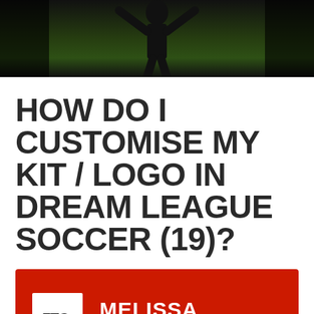[Figure (photo): Dark photo banner showing a silhouette of a person against a green field background]
HOW DO I CUSTOMISE MY KIT / LOGO IN DREAM LEAGUE SOCCER (19)?
FTG. MELISSA Updated 2 years ago